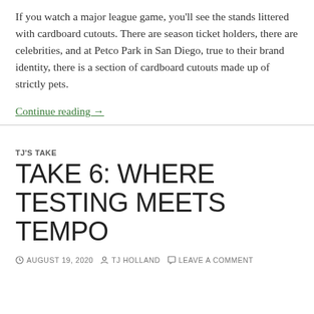If you watch a major league game, you'll see the stands littered with cardboard cutouts. There are season ticket holders, there are celebrities, and at Petco Park in San Diego, true to their brand identity, there is a section of cardboard cutouts made up of strictly pets.
Continue reading →
TJ'S TAKE
TAKE 6: WHERE TESTING MEETS TEMPO
AUGUST 19, 2020   TJ HOLLAND   LEAVE A COMMENT